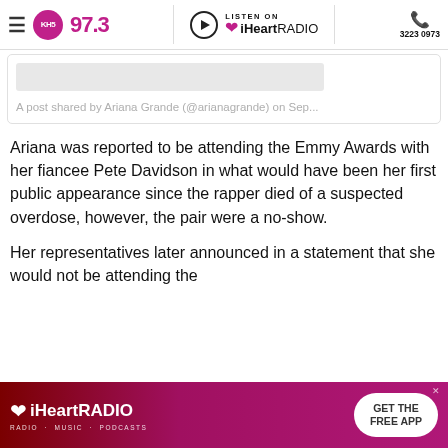KH5 97.3 | LISTEN ON iHeartRADIO | 3223 0973
[Figure (screenshot): Partial social media embed box with a pink/gray placeholder image strip and caption text: 'A post shared by Ariana Grande (@arianagrande) on Sep...']
Ariana was reported to be attending the Emmy Awards with her fiancee Pete Davidson in what would have been her first public appearance since the rapper died of a suspected overdose, however, the pair were a no-show.
Her representatives later announced in a statement that she would not be attending the
[Figure (infographic): iHeartRADIO advertisement banner. Red-to-pink gradient background. iHeart logo and wordmark on the left with tagline 'RADIO · MUSIC · PODCASTS'. White rounded button on the right reading 'GET THE FREE APP'.]